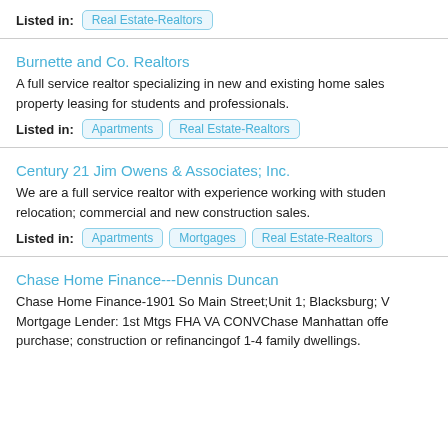Listed in: Real Estate-Realtors
Burnette and Co. Realtors
A full service realtor specializing in new and existing home sales, property leasing for students and professionals.
Listed in: Apartments, Real Estate-Realtors
Century 21 Jim Owens & Associates; Inc.
We are a full service realtor with experience working with students; relocation; commercial and new construction sales.
Listed in: Apartments, Mortgages, Real Estate-Realtors
Chase Home Finance---Dennis Duncan
Chase Home Finance-1901 So Main Street;Unit 1; Blacksburg; Mortgage Lender: 1st Mtgs FHA VA CONVChase Manhattan offers purchase; construction or refinancingof 1-4 family dwellings.